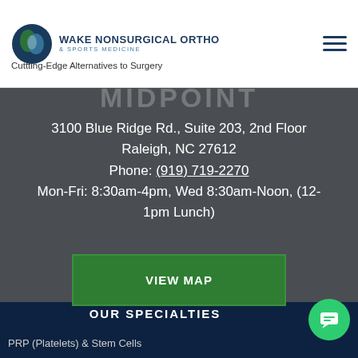WAKE NONSURGICAL ORTHO & SPORTS MEDICINE
Cuttting-Edge Alternatives to Surgery
3100 Blue Ridge Rd., Suite 203, 2nd Floor
Raleigh, NC 27612
Phone: (919) 719-2270
Mon-Fri: 8:30am-4pm, Wed 8:30am-Noon, (12-1pm Lunch)
VIEW MAP
OUR SPECIALTIES
PRP (Platelets) & Stem Cells